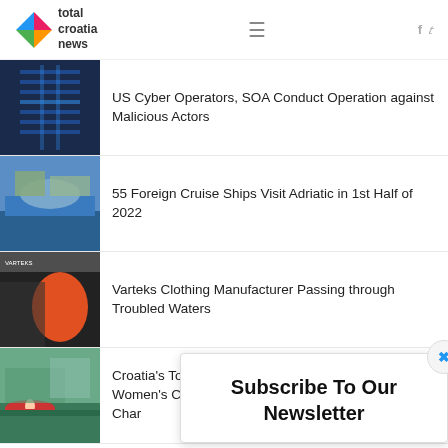total croatia news
US Cyber Operators, SOA Conduct Operation against Malicious Actors
55 Foreign Cruise Ships Visit Adriatic in 1st Half of 2022
Varteks Clothing Manufacturer Passing through Troubled Waters
Croatia's Tot Wins Bronze in Women's Canoe Championship
Subscribe To Our Newsletter